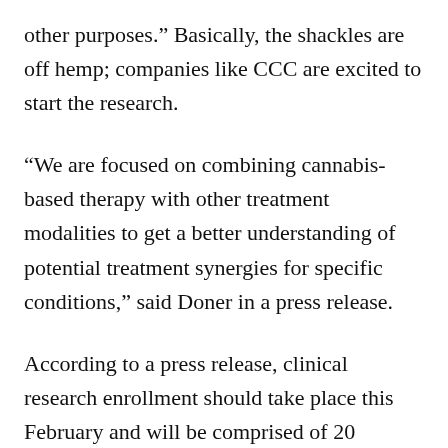other purposes.” Basically, the shackles are off hemp; companies like CCC are excited to start the research.
“We are focused on combining cannabis-based therapy with other treatment modalities to get a better understanding of potential treatment synergies for specific conditions,” said Doner in a press release.
According to a press release, clinical research enrollment should take place this February and will be comprised of 20 subjects. The number of subjects could increase during the three-month trial.
The IBS study will utilize artificial intelligence in the